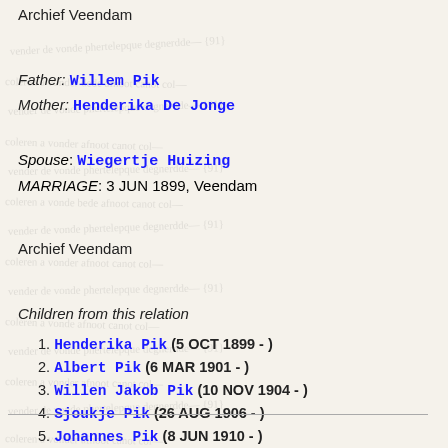Archief Veendam
Father: Willem Pik
Mother: Henderika De Jonge
Spouse: Wiegertje Huizing
MARRIAGE: 3 JUN 1899, Veendam
Archief Veendam
Children from this relation
1. Henderika Pik (5 OCT 1899 - )
2. Albert Pik (6 MAR 1901 - )
3. Willen Jakob Pik (10 NOV 1904 - )
4. Sjoukje Pik (26 AUG 1906 - )
5. Johannes Pik (8 JUN 1910 - )